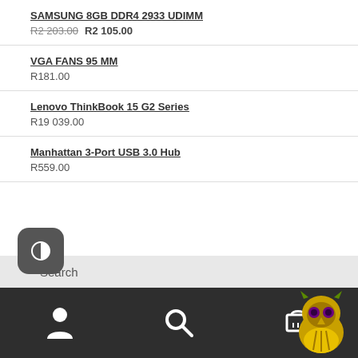SAMSUNG 8GB DDR4 2933 UDIMM
R2 203.00  R2 105.00
VGA FANS 95 MM
R181.00
Lenovo ThinkBook 15 G2 Series
R19 039.00
Manhattan 3-Port USB 3.0 Hub
R559.00
Search